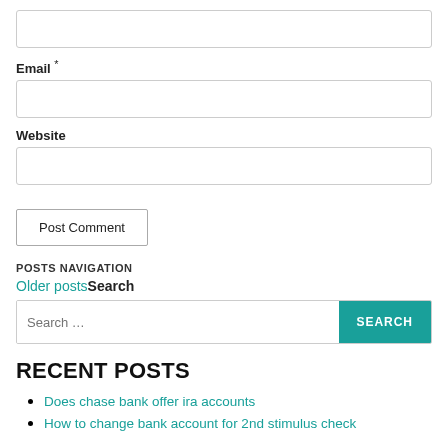[Figure (other): Empty text input box (name field)]
Email *
[Figure (other): Empty text input box (email field)]
Website
[Figure (other): Empty text input box (website field)]
Post Comment
POSTS NAVIGATION
Older posts Search
[Figure (other): Search bar with placeholder 'Search ...' and a teal SEARCH button]
RECENT POSTS
Does chase bank offer ira accounts
How to change bank account for 2nd stimulus check